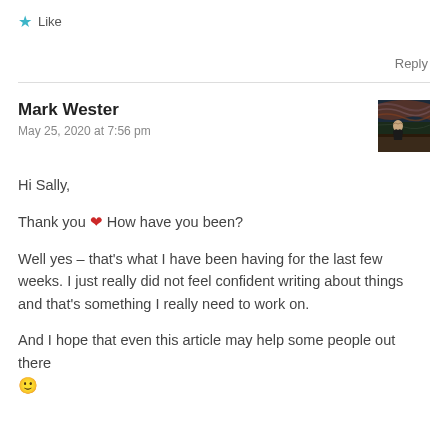★ Like
Reply
Mark Wester
May 25, 2020 at 7:56 pm
[Figure (photo): Avatar image of The Scream painting by Edvard Munch]
Hi Sally,

Thank you ❤ How have you been?

Well yes – that's what I have been having for the last few weeks. I just really did not feel confident writing about things and that's something I really need to work on.

And I hope that even this article may help some people out there 🙂